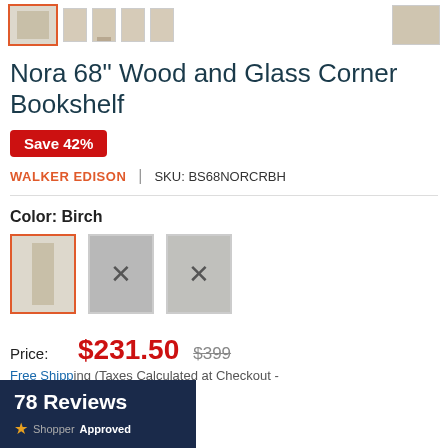[Figure (photo): Row of product thumbnail images for the bookshelf, first one selected with orange border]
Nora 68" Wood and Glass Corner Bookshelf
Save 42%
WALKER EDISON | SKU: BS68NORCRBH
Color: Birch
[Figure (photo): Three color swatch options for the bookshelf: Birch (selected, orange border), and two gray/charcoal variants with X marks]
Price: $231.50  $399
Free Shipping (Taxes Calculated at Checkout - Lower 48 States Only)
78 Reviews
ShopperApproved